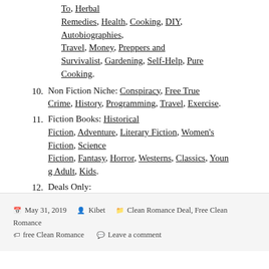To, Herbal Remedies, Health, Cooking, DIY, Autobiographies, Travel, Money, Preppers and Survivalist, Gardening, Self-Help, Pure Cooking.
10. Non Fiction Niche: Conspiracy, Free True Crime, History, Programming, Travel, Exercise.
11. Fiction Books: Historical Fiction, Adventure, Literary Fiction, Women's Fiction, Science Fiction, Fantasy, Horror, Westerns, Classics, Young Adult, Kids.
12. Deals Only: $1 Book Deals, NY Times Bestseller Deals.
May 31, 2019  Kibet  Clean Romance Deal, Free Clean Romance  free Clean Romance  Leave a comment